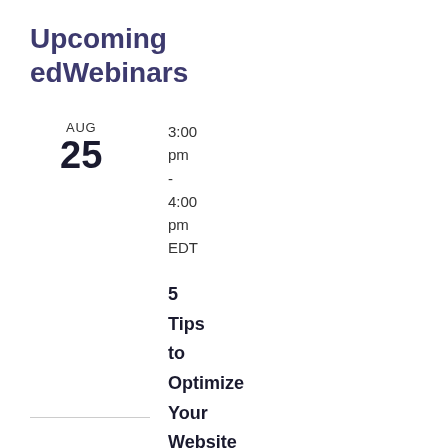Upcoming edWebinars
AUG
25
3:00 pm - 4:00 pm EDT
5 Tips to Optimize Your Website for a New School Year